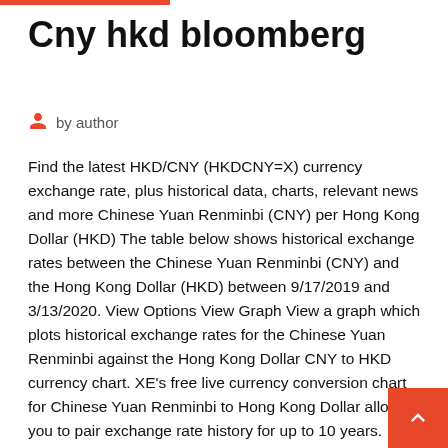Cny hkd bloomberg
by author
Find the latest HKD/CNY (HKDCNY=X) currency exchange rate, plus historical data, charts, relevant news and more Chinese Yuan Renminbi (CNY) per Hong Kong Dollar (HKD) The table below shows historical exchange rates between the Chinese Yuan Renminbi (CNY) and the Hong Kong Dollar (HKD) between 9/17/2019 and 3/13/2020. View Options View Graph View a graph which plots historical exchange rates for the Chinese Yuan Renminbi against the Hong Kong Dollar CNY to HKD currency chart. XE's free live currency conversion chart for Chinese Yuan Renminbi to Hong Kong Dollar allows you to pair exchange rate history for up to 10 years.
Find the latest HKD/CNY (HKDCNY=X) currency exchange rate, plus historical data, charts, relevant news and more Chinese Yuan Renminbi (CNY) per Hong Kong Dollar (HKD) The table below shows historical exchange rates between the Chinese